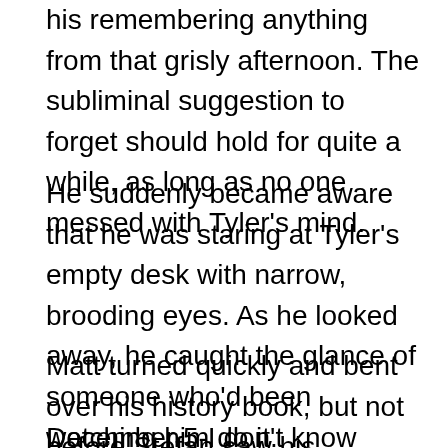his remembering anything from that grisly afternoon. The subliminal suggestion to forget should hold for quite a while, as long as no one messed with Tyler's mind.
He suddenly became aware that he was staring at Tyler's empty desk with narrow, brooding eyes. As he looked away, he caught the glance of someone who'd been watching him do it.
Matt turned quickly and bent over his history book, but not before Stefan saw his expression.
December 5-I don't know what time, probably